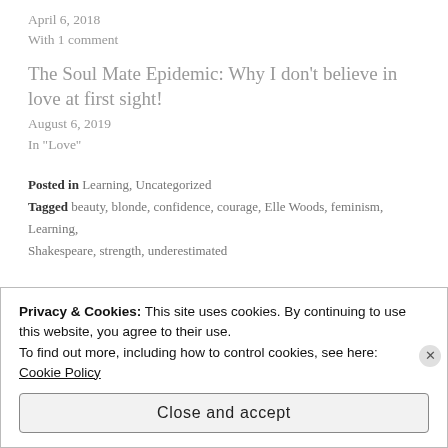April 6, 2018
With 1 comment
The Soul Mate Epidemic: Why I don’t believe in love at first sight!
August 6, 2019
In "Love"
Posted in Learning, Uncategorized
Tagged beauty, blonde, confidence, courage, Elle Woods, feminism, Learning, Shakespeare, strength, underestimated
Privacy & Cookies: This site uses cookies. By continuing to use this website, you agree to their use.
To find out more, including how to control cookies, see here: Cookie Policy
Close and accept